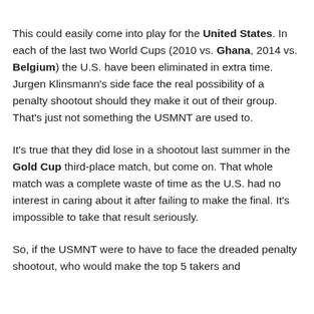This could easily come into play for the United States. In each of the last two World Cups (2010 vs. Ghana, 2014 vs. Belgium) the U.S. have been eliminated in extra time. Jurgen Klinsmann's side face the real possibility of a penalty shootout should they make it out of their group. That's just not something the USMNT are used to.
It's true that they did lose in a shootout last summer in the Gold Cup third-place match, but come on. That whole match was a complete waste of time as the U.S. had no interest in caring about it after failing to make the final. It's impossible to take that result seriously.
So, if the USMNT were to have to face the dreaded penalty shootout, who would make the top 5 takers and